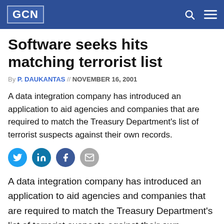GCN
Software seeks hits matching terrorist list
By P. DAUKANTAS // NOVEMBER 16, 2001
A data integration company has introduced an application to aid agencies and companies that are required to match the Treasury Department's list of terrorist suspects against their own records.
[Figure (infographic): Social sharing icons: Twitter, LinkedIn, Facebook, Email]
A data integration company has introduced an application to aid agencies and companies that are required to match the Treasury Department's list of terrorist suspects against their own records.